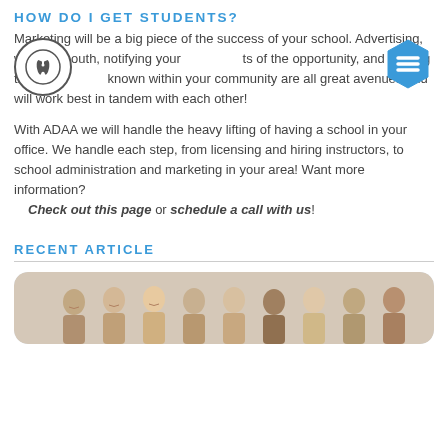HOW DO I GET STUDENTS?
Marketing will be a big piece of the success of your school. Advertising, word of mouth, notifying your patients of the opportunity, and making the school known within your community are all great avenues and will work best in tandem with each other!
With ADAA we will handle the heavy lifting of having a school in your office. We handle each step, from licensing and hiring instructors, to school administration and marketing in your area! Want more information? Check out this page or schedule a call with us!
RECENT ARTICLE
[Figure (photo): Group photo of several young women smiling, taken indoors]